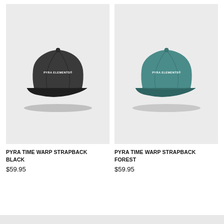[Figure (photo): Black PYRA Time Warp Strapback cap on light grey background. Cap has 'PYRA ELEMENTS®' text on front panel.]
PYRA TIME WARP STRAPBACK BLACK
$59.95
[Figure (photo): Forest green PYRA Time Warp Strapback cap on light grey background. Cap has 'PYRA ELEMENTS®' text on front panel.]
PYRA TIME WARP STRAPBACK FOREST
$59.95